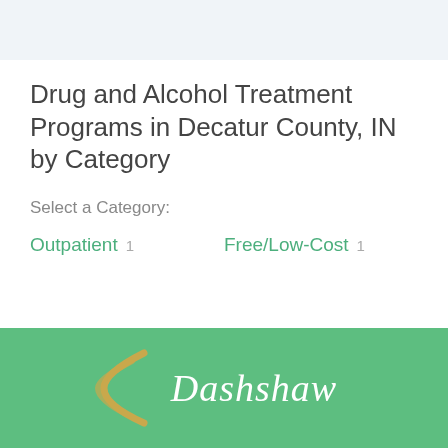Drug and Alcohol Treatment Programs in Decatur County, IN by Category
Select a Category:
Outpatient  1
Free/Low-Cost  1
[Figure (logo): Dashshaw logo: two curved gold parenthesis-like arcs on a green background with italic white text 'Dashshaw']